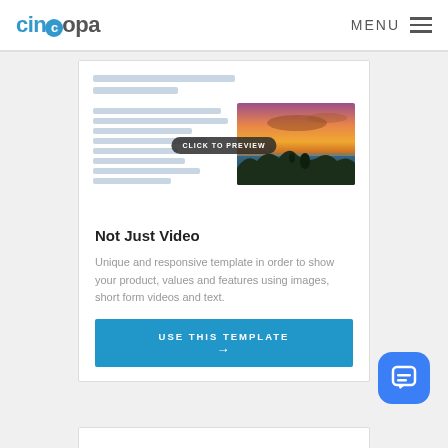cincopa   MENU
[Figure (screenshot): Website template preview showing skeleton placeholder lines on the left and a landscape sunset photo on the right with a 'CLICK TO PREVIEW' button overlay]
Not Just Video
Unique and responsive template in order to show your product, values and features using images, short form videos and text.
USE THIS TEMPLATE →
[Figure (illustration): Blue rounded square chat/support icon in the bottom right corner]
[Figure (screenshot): Bottom of next card partially visible]